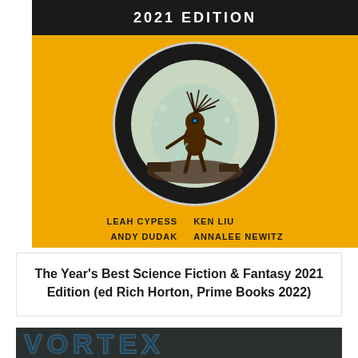[Figure (illustration): Book cover for 'The Year's Best Science Fiction & Fantasy 2021 Edition' edited by Rich Horton, Prime Books 2022. Dark top bar with '2021 EDITION' text, golden/amber background with a circular illustration of a sci-fi creature figure, and author names listed below.]
The Year's Best Science Fiction & Fantasy 2021 Edition (ed Rich Horton, Prime Books 2022)
[Figure (illustration): Partial view of another book cover at the bottom, showing stylized text that appears to read 'VORTEX' or similar in blue tones on a dark background.]